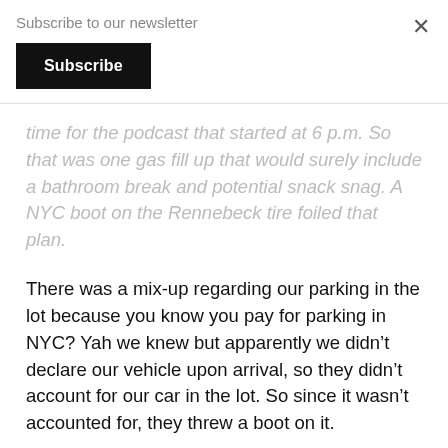Subscribe to our newsletter
Subscribe
time for the podcast that started at 6 p.m.  So that was one gas fill up that would surely include a bathroom break and potential snack snag.  A NYC boot on the Rennebeck tire foiled that plan.
There was a mix-up regarding our parking in the lot because you know you pay for parking in NYC?  Yah we knew but apparently we didn’t declare our vehicle upon arrival, so they didn’t account for our car in the lot.  So since it wasn’t accounted for, they threw a boot on it.
Okay fast forward Rachael’s slight tantrum and